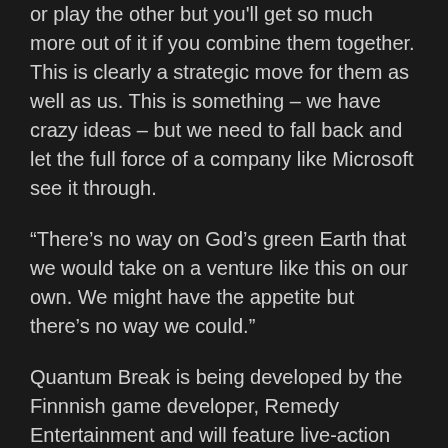or play the other but you'll get so much more out of it if you combine them together. This is clearly a strategic move for them as well as us. This is something – we have crazy ideas – but we need to fall back and let the full force of a company like Microsoft see it through.
“There’s no way on God’s green Earth that we would take on a venture like this on our own. We might have the appetite but there’s no way we could.”
Quantum Break is being developed by the Finnnish game developer, Remedy Entertainment and will feature live-action videos blended with regular gameplay. The game was originally revealed with a teaser during the Xbox One reveal on May 21, 2013. A Quantum Break TV series is also in production, and how you play the game will impact the show. The show will also inform you how to play.